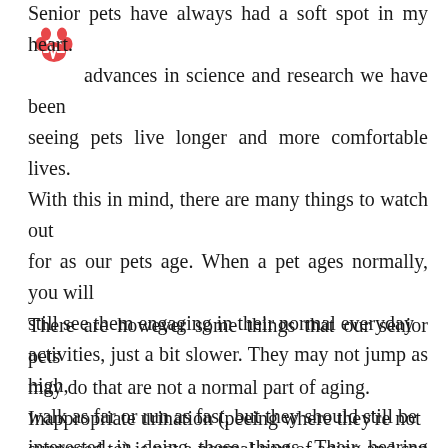[Figure (logo): Red paw print with heart rate line icon — senior pet care logo]
Senior pets have always had a soft spot in my heart. advances in science and research we have been seeing pets live longer and more comfortable lives. With this in mind, there are many things to watch out for as our pets age. When a pet ages normally, you will still see them engaging in their normal everyday activities, just a bit slower. They may not jump as high, walk as far or run as fast, but they should still be interested in doing these things. Their hearing may not be as keen, and their eyesight may weaken, especially at night.
There are however some things that our senior pets may do that are not a normal part of aging. Inappropriate urination (peeing where they're not supposed to) is not a normal part of aging and can be caused by underlying senior pet illness such as